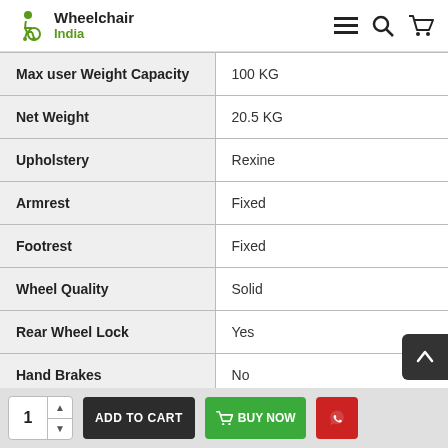Wheelchair India
| Specification | Value |
| --- | --- |
| Max user Weight Capacity | 100 KG |
| Net Weight | 20.5 KG |
| Upholstery | Rexine |
| Armrest | Fixed |
| Footrest | Fixed |
| Wheel Quality | Solid |
| Rear Wheel Lock | Yes |
| Hand Brakes | No |
| … | … |